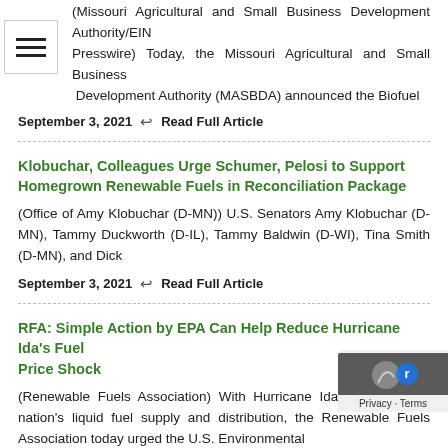(Missouri Agricultural and Small Business Development Authority/EIN Presswire) Today, the Missouri Agricultural and Small Business Development Authority (MASBDA) announced the Biofuel
September 3, 2021  ↩ Read Full Article
Klobuchar, Colleagues Urge Schumer, Pelosi to Support Homegrown Renewable Fuels in Reconciliation Package
(Office of Amy Klobuchar (D-MN)) U.S. Senators Amy Klobuchar (D-MN), Tammy Duckworth (D-IL), Tammy Baldwin (D-WI), Tina Smith (D-MN), and Dick
September 3, 2021  ↩ Read Full Article
RFA: Simple Action by EPA Can Help Reduce Hurricane Ida's Fuel Price Shock
(Renewable Fuels Association) With Hurricane Ida impacting the nation's liquid fuel supply and distribution, the Renewable Fuels Association today urged the U.S. Environmental
August 31, 2021  ↩ Read Full Article
Biodiesel Infrastructure Gets Big Boost in Latest USDA Grant